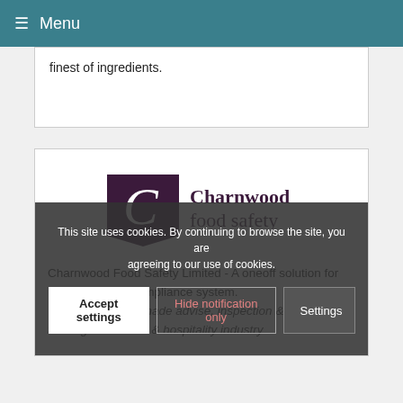≡ Menu
finest of ingredients.
[Figure (logo): Charnwood Food Safety logo — stylized C mark with 'Charnwood food safety' text]
Charnwood Food Safety Limited - A oneoff solution for managing your compliance system. We provide tailor made advise, inspection & training to the food & hospitality industry
This site uses cookies. By continuing to browse the site, you are agreeing to our use of cookies.
Accept settings   Hide notification only   Settings